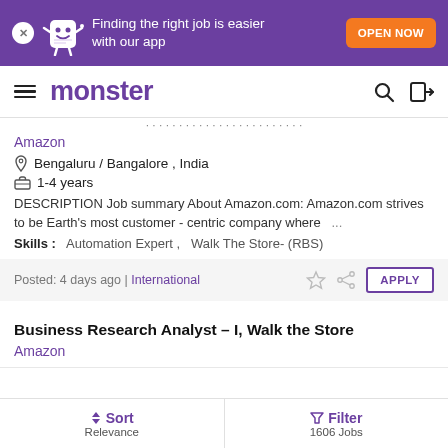Finding the right job is easier with our app | OPEN NOW
monster
Amazon
Bengaluru / Bangalore , India
1-4 years
DESCRIPTION Job summary About Amazon.com: Amazon.com strives to be Earth's most customer - centric company where ...
Skills :  Automation Expert ,  Walk The Store- (RBS)
Posted: 4 days ago |  International
Business Research Analyst – I, Walk the Store
Amazon
Sort Relevance | Filter 1606 Jobs